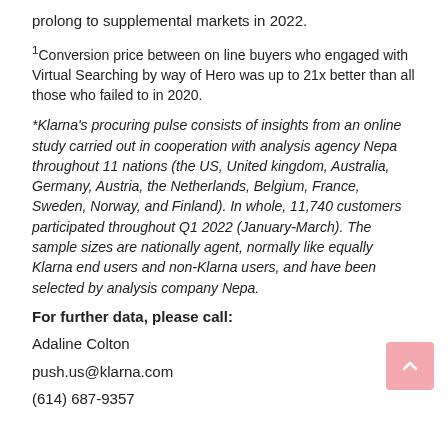prolong to supplemental markets in 2022.
1Conversion price between on line buyers who engaged with Virtual Searching by way of Hero was up to 21x better than all those who failed to in 2020.
*Klarna's procuring pulse consists of insights from an online study carried out in cooperation with analysis agency Nepa throughout 11 nations (the US, United kingdom, Australia, Germany, Austria, the Netherlands, Belgium, France, Sweden, Norway, and Finland). In whole, 11,740 customers participated throughout Q1 2022 (January-March). The sample sizes are nationally agent, normally like equally Klarna end users and non-Klarna users, and have been selected by analysis company Nepa.
For further data, please call:
Adaline Colton
push.us@klarna.com
(614) 687-9357